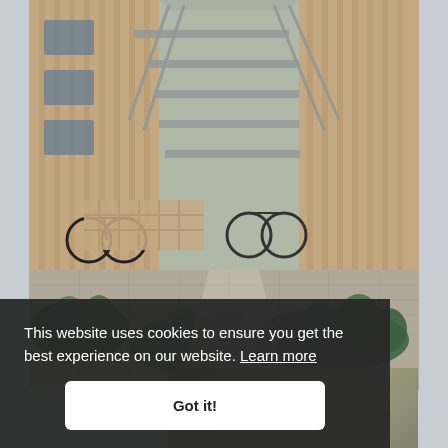[Figure (photo): Exterior courtyard of a modern residential building with wooden facade, metal staircase, paved walkway, parked bicycles, and lush green plantings in garden beds. Warm evening light.]
This website uses cookies to ensure you get the best experience on our website. Learn more
Got it!